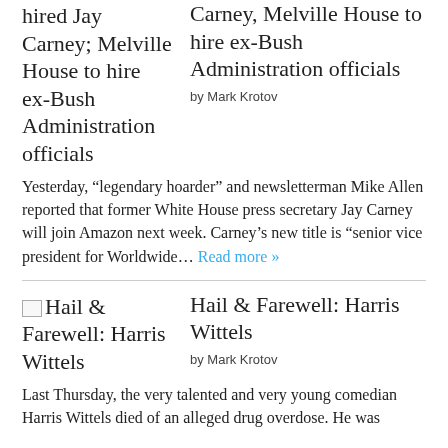hired Jay Carney; Melville House to hire ex-Bush Administration officials
Carney, Melville House to hire ex-Bush Administration officials
by Mark Krotov
Yesterday, “legendary hoarder” and newsletterman Mike Allen reported that former White House press secretary Jay Carney will join Amazon next week. Carney’s new title is “senior vice president for Worldwide… Read more »
Hail & Farewell: Harris Wittels
Hail & Farewell: Harris Wittels
by Mark Krotov
Last Thursday, the very talented and very young comedian Harris Wittels died of an alleged drug overdose. He was